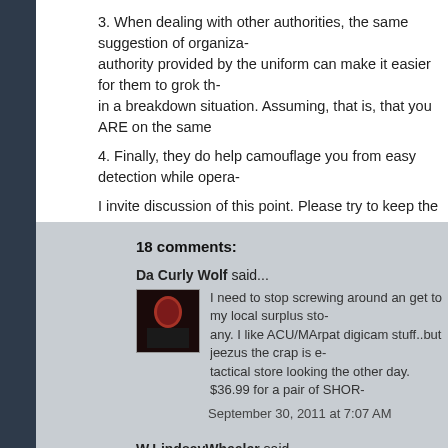3. When dealing with other authorities, the same suggestion of organiza- authority provided by the uniform can make it easier for them to grok th- in a breakdown situation. Assuming, that is, that you ARE on the same
4. Finally, they do help camouflage you from easy detection while opera-
I invite discussion of this point. Please try to keep the volume down.
Posted by Dutchman6 at 5:42 AM
18 comments:
Da Curly Wolf said...
I need to stop screwing around an get to my local surplus sto- any. I like ACU/MArpat digicam stuff..but jeezus the crap is e- tactical store looking the other day. $36.99 for a pair of SHOR-
September 30, 2011 at 7:07 AM
W.LindsayWheeler said...
Could it be also as with the ammo drying up and becoming e- don't want the commons to have uniforms?